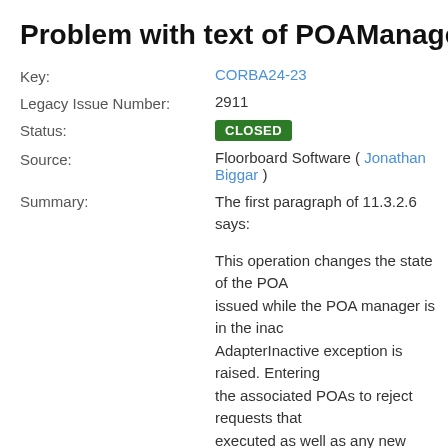Problem with text of POAManager::deactivate()
Key: CORBA24-23
Legacy Issue Number: 2911
Status: CLOSED
Source: Floorboard Software ( Jonathan Biggar )
Summary: The first paragraph of 11.3.2.6 says:

This operation changes the state of the POA issued while the POA manager is in the inac AdapterInactive exception is raised. Entering the associated POAs to reject requests that executed as well as any new requests.

But the last paragraph says:

If deactivate is called multiple times before d (because there are active requests), the eth applies only to the first call of deactivate; sub conflicting etherealize_objects settings will u etherealize_objects from the first call. The w parameter will be handled as defined above